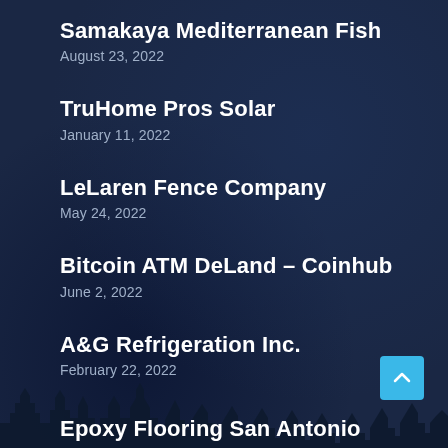Samakaya Mediterranean Fish
August 23, 2022
TruHome Pros Solar
January 11, 2022
LeLaren Fence Company
May 24, 2022
Bitcoin ATM DeLand – Coinhub
June 2, 2022
A&G Refrigeration Inc.
February 22, 2022
Epoxy Flooring San Antonio